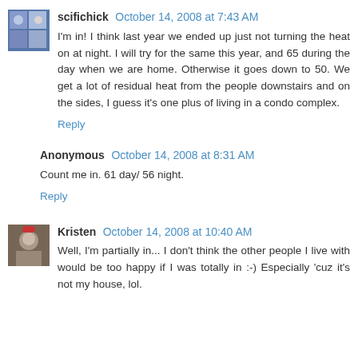scifichick October 14, 2008 at 7:43 AM
I'm in! I think last year we ended up just not turning the heat on at night. I will try for the same this year, and 65 during the day when we are home. Otherwise it goes down to 50. We get a lot of residual heat from the people downstairs and on the sides, I guess it's one plus of living in a condo complex.
Reply
Anonymous October 14, 2008 at 8:31 AM
Count me in. 61 day/ 56 night.
Reply
Kristen October 14, 2008 at 10:40 AM
Well, I'm partially in... I don't think the other people I live with would be too happy if I was totally in :-) Especially 'cuz it's not my house, lol.